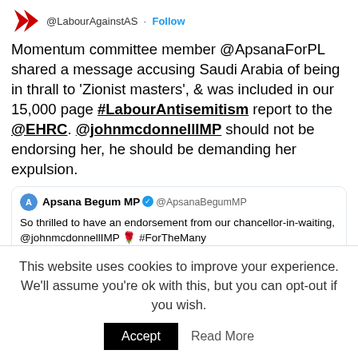[Figure (screenshot): Twitter/X profile avatar showing a red star or arrow logo for @LabourAgainstAS account]
@LabourAgainstAS · Follow
Momentum committee member @ApsanaForPL shared a message accusing Saudi Arabia of being in thrall to 'Zionist masters', & was included in our 15,000 page #LabourAntisemitism report to the @EHRC. @johnmcdonnellIMP should not be endorsing her, he should be demanding her expulsion.
[Figure (screenshot): Quoted tweet from Apsana Begum MP (@ApsanaBegumMP) with verified badge, text: 'So thrilled to have an endorsement from our chancellor-in-waiting, @johnmcdonnellIMP 🌹 #ForTheMany', containing a red campaign banner for John McDonnell MP Shadow Chancellor reading 'Apsana would be a powerful voice for all communities in']
This website uses cookies to improve your experience. We'll assume you're ok with this, but you can opt-out if you wish.
Accept   Read More